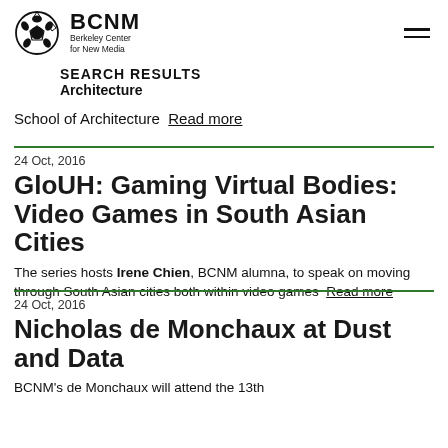BCNM Berkeley Center for New Media
SEARCH RESULTS
Architecture
School of Architecture  Read more
24 Oct, 2016
GloUH: Gaming Virtual Bodies: Video Games in South Asian Cities
The series hosts Irene Chien, BCNM alumna, to speak on moving through South Asian cities both within video games  Read more
24 Oct, 2016
Nicholas de Monchaux at Dust and Data
BCNM's de Monchaux will attend the 13th